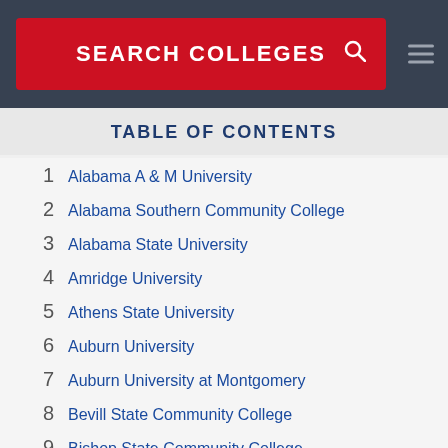SEARCH COLLEGES
TABLE OF CONTENTS
1  Alabama A & M University
2  Alabama Southern Community College
3  Alabama State University
4  Amridge University
5  Athens State University
6  Auburn University
7  Auburn University at Montgomery
8  Bevill State Community College
9  Bishop State Community College
10 Central Alabama Community College
11 Chattahoochee Valley Community College
12 Columbia Southern University